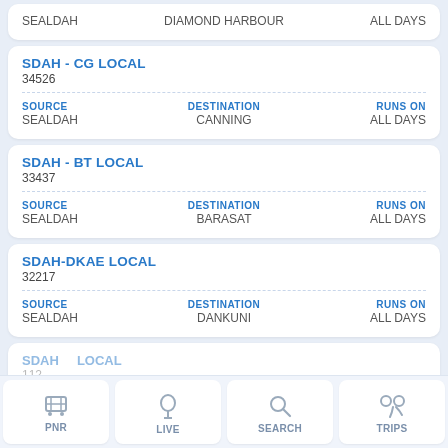SEALDAH   DIAMOND HARBOUR   ALL DAYS
SDAH - CG LOCAL
34526
SOURCE: SEALDAH | DESTINATION: CANNING | RUNS ON: ALL DAYS
SDAH - BT LOCAL
33437
SOURCE: SEALDAH | DESTINATION: BARASAT | RUNS ON: ALL DAYS
SDAH-DKAE LOCAL
32217
SOURCE: SEALDAH | DESTINATION: DANKUNI | RUNS ON: ALL DAYS
SDAH...LOCAL | 112...
PNR   LIVE   SEARCH   TRIPS